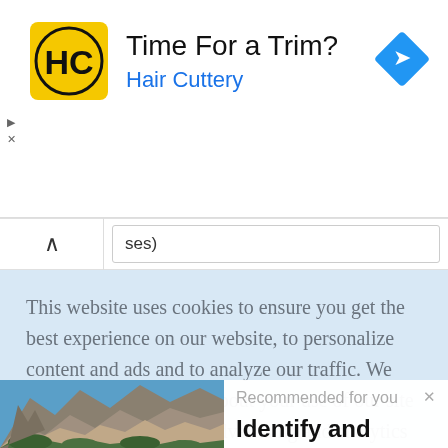[Figure (screenshot): Hair Cuttery advertisement banner with yellow HC logo, heading 'Time For a Trim?' and blue subheading 'Hair Cuttery', with a blue navigation diamond icon on the right]
ses)
This website uses cookies to ensure you get the best experience on our website, to personalize content and ads and to analyze our traffic. We also share information about your use of our site with our social media, advertising and analytics partners such as
[Figure (photo): Mountain landscape with rocky peaks, blue sky, and green vegetation in foreground]
Recommended for you
Identify and Remove Dup...
www.datanovia.com